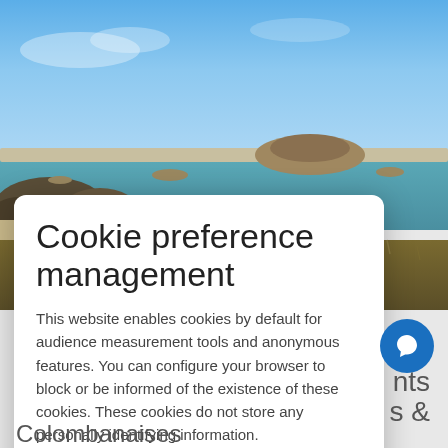[Figure (photo): Panoramic coastal landscape showing Chevrets Beach and Besnard Island, Saint-Coulomb, with blue sky, turquoise water, rocky shoreline, and grassy foreground]
Chevrets Beach and Besnard Island Saint-Coulomb ©
Cookie preference management
This website enables cookies by default for audience measurement tools and anonymous features. You can configure your browser to block or be informed of the existence of these cookies. These cookies do not store any personally identifying information.
Read more
No thanks | I choose | Ok for me
nts & Colombanaises